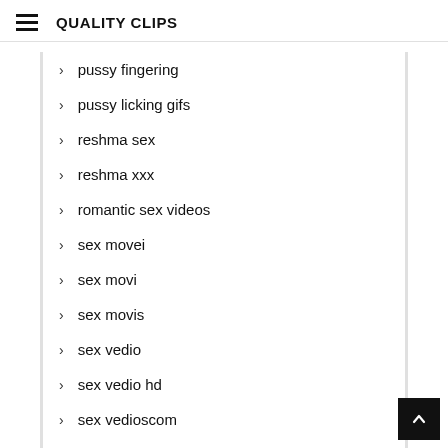QUALITY CLIPS
pussy fingering
pussy licking gifs
reshma sex
reshma xxx
romantic sex videos
sex movei
sex movi
sex movis
sex vedio
sex vedio hd
sex vedioscom